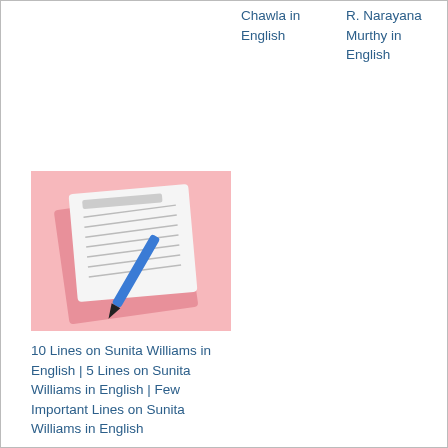Chawla in English
R. Narayana Murthy in English
[Figure (photo): A notebook with lined paper and a blue pen on a pink background]
10 Lines on Sunita Williams in English | 5 Lines on Sunita Williams in English | Few Important Lines on Sunita Williams in English